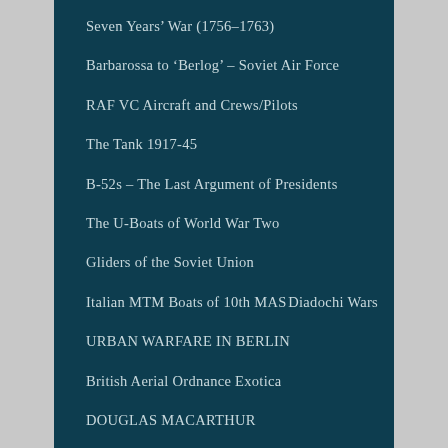Seven Years’ War (1756–1763)
Barbarossa to ‘Berlog’ – Soviet Air Force
RAF VC Aircraft and Crews/Pilots
The Tank 1917-45
B-52s – The Last Argument of Presidents
The U-Boats of World War Two
Gliders of the Soviet Union
Italian MTM Boats of 10th MAS        Diadochi Wars
URBAN WARFARE IN BERLIN
British Aerial Ordnance Exotica
DOUGLAS MACARTHUR